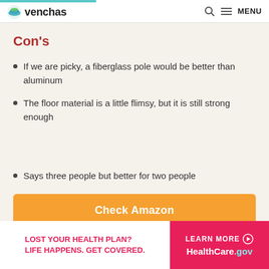venchas — MENU
Con's
If we are picky, a fiberglass pole would be better than aluminum
The floor material is a little flimsy, but it is still strong enough
Says three people but better for two people
Check Amazon
[Figure (infographic): Ad banner: LOST YOUR HEALTH PLAN? LIFE HAPPENS. GET COVERED. | LEARN MORE HealthCare.gov]